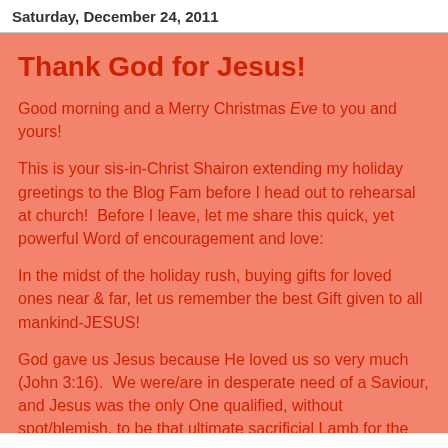Saturday, December 24, 2011
Thank God for Jesus!
Good morning and a Merry Christmas Eve to you and yours!
This is your sis-in-Christ Shairon extending my holiday greetings to the Blog Fam before I head out to rehearsal at church!  Before I leave, let me share this quick, yet powerful Word of encouragement and love:
In the midst of the holiday rush, buying gifts for loved ones near & far, let us remember the best Gift given to all mankind-JESUS!
God gave us Jesus because He loved us so very much (John 3:16).  We were/are in desperate need of a Saviour, and Jesus was the only One qualified, without spot/blemish, to be that ultimate sacrificial Lamb for the world (Romans 8:3; 1 Peter 1:19).
Some of us enjoy the holiday decorations, gift...